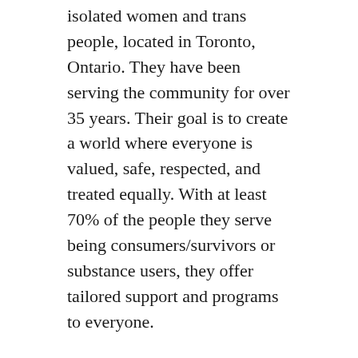isolated women and trans people, located in Toronto, Ontario. They have been serving the community for over 35 years. Their goal is to create a world where everyone is valued, safe, respected, and treated equally. With at least 70% of the people they serve being consumers/survivors or substance users, they offer tailored support and programs to everyone.
Dress for Success
Dress for Success is a charity that provides women with a network of support to empower them to become economically independent. They have grown to over 150 cities helping